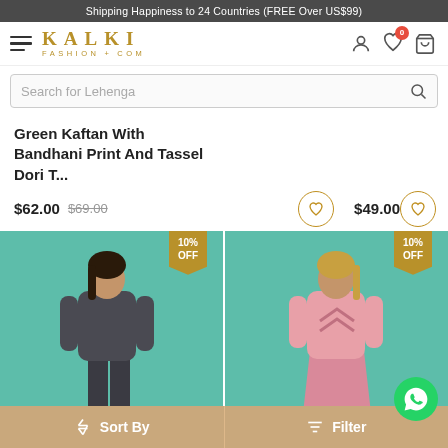Shipping Happiness to 24 Countries (FREE Over US$99)
[Figure (screenshot): Kalki Fashion website navigation bar with hamburger menu, KALKI FASHION+COM logo in gold, user icon, wishlist icon with badge showing 0, and shopping bag icon]
Search for Lehenga
Green Kaftan With Bandhani Print And Tassel Dori T...
$62.00  $69.00   $49.00
[Figure (photo): Two product images side by side on teal/green background: left shows a model in dark gray outfit with 10% OFF badge; right shows a model in pink outfit with 10% OFF badge and WhatsApp chat button]
Sort By   Filter